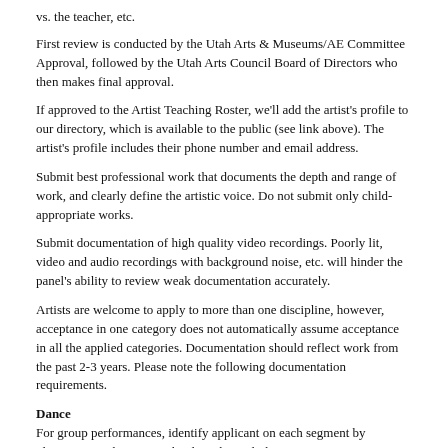vs. the teacher, etc.
First review is conducted by the Utah Arts & Museums/AE Committee Approval, followed by the Utah Arts Council Board of Directors who then makes final approval.
If approved to the Artist Teaching Roster, we'll add the artist's profile to our directory, which is available to the public (see link above). The artist's profile includes their phone number and email address.
Submit best professional work that documents the depth and range of work, and clearly define the artistic voice. Do not submit only child-appropriate works.
Submit documentation of high quality video recordings. Poorly lit, video and audio recordings with background noise, etc. will hinder the panel's ability to review weak documentation accurately.
Artists are welcome to apply to more than one discipline, however, acceptance in one category does not automatically assume acceptance in all the applied categories. Documentation should reflect work from the past 2-3 years. Please note the following documentation requirements.
Dance
For group performances, identify applicant on each segment by placement on the stage or by describing clothing.
Literary Arts
Submit examples of recent work sans name. Prose writers may submit up to 40